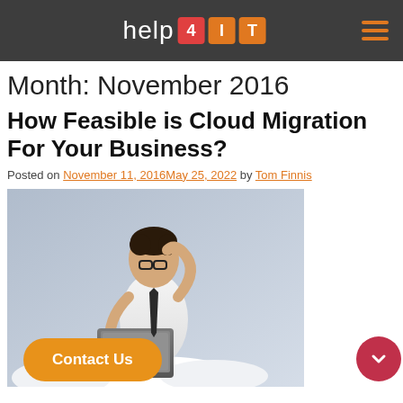help 4IT
Month: November 2016
How Feasible is Cloud Migration For Your Business?
Posted on November 11, 2016May 25, 2022 by Tom Finnis
[Figure (photo): Man in white shirt and tie sitting on clouds, holding a laptop and scratching his head with glasses on, against a grey background.]